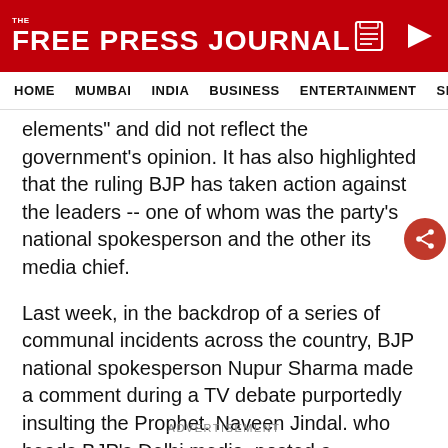THE FREE PRESS JOURNAL
HOME  MUMBAI  INDIA  BUSINESS  ENTERTAINMENT  SPO
elements" and did not reflect the government's opinion. It has also highlighted that the ruling BJP has taken action against the leaders -- one of whom was the party's national spokesperson and the other its media chief.
Last week, in the backdrop of a series of communal incidents across the country, BJP national spokesperson Nupur Sharma made a comment during a TV debate purportedly insulting the Prophet. Naveen Jindal. who heads BJP's Delhi media, posted a
ADVERTISEMENT